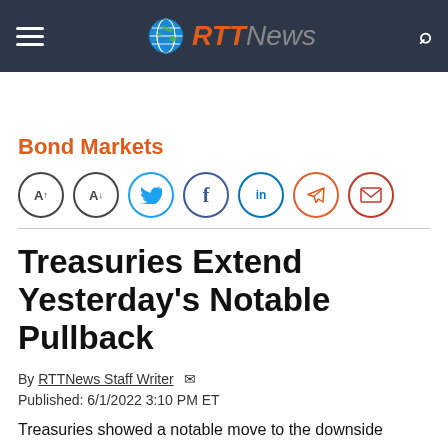RTTNews
Bond Markets
[Figure (other): Row of social sharing icons: font increase (A+), font decrease (A-), Twitter, Facebook, LinkedIn, Telegram, Email]
Treasuries Extend Yesterday's Notable Pullback
By RTTNews Staff Writer
Published: 6/1/2022 3:10 PM ET
Treasuries showed a notable move to the downside